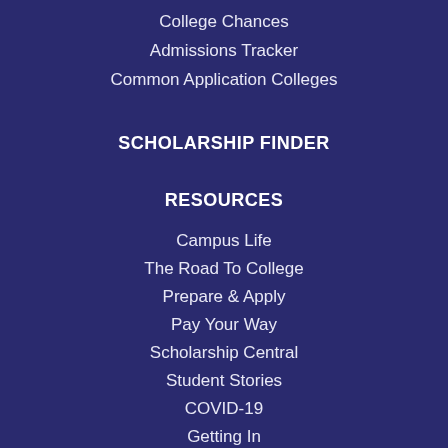College Chances
Admissions Tracker
Common Application Colleges
SCHOLARSHIP FINDER
RESOURCES
Campus Life
The Road To College
Prepare & Apply
Pay Your Way
Scholarship Central
Student Stories
COVID-19
Getting In
RESOURCES (CONT.)